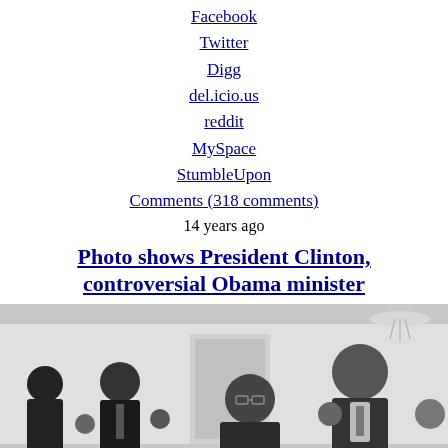Facebook
Twitter
Digg
del.icio.us
reddit
MySpace
StumbleUpon
Comments (318 comments)
14 years ago
Photo shows President Clinton, controversial Obama minister
[Figure (photo): Black and white photograph showing a group of people at a formal event, including a tall man on the right who appears to be President Clinton, and a shorter man with glasses in the center foreground, in what appears to be a grand interior room.]